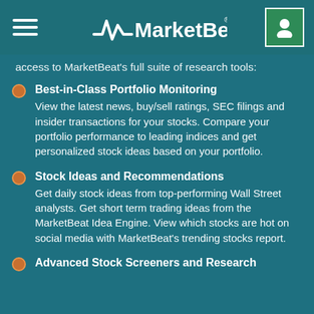MarketBeat
access to MarketBeat's full suite of research tools:
Best-in-Class Portfolio Monitoring
View the latest news, buy/sell ratings, SEC filings and insider transactions for your stocks. Compare your portfolio performance to leading indices and get personalized stock ideas based on your portfolio.
Stock Ideas and Recommendations
Get daily stock ideas from top-performing Wall Street analysts. Get short term trading ideas from the MarketBeat Idea Engine. View which stocks are hot on social media with MarketBeat's trending stocks report.
Advanced Stock Screeners and Research